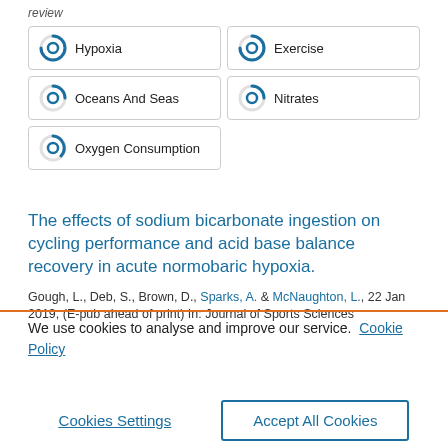review
Hypoxia
Exercise
Oceans And Seas
Nitrates
Oxygen Consumption
The effects of sodium bicarbonate ingestion on cycling performance and acid base balance recovery in acute normobaric hypoxia.
Gough, L., Deb, S., Brown, D., Sparks, A. & McNaughton, L., 22 Jan 2019, (E-pub ahead of print) In: Journal of Sports Sciences
We use cookies to analyse and improve our service.  Cookie Policy
Cookies Settings
Accept All Cookies